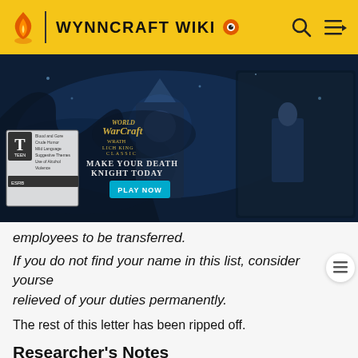WYNNCRAFT WIKI
[Figure (screenshot): World of Warcraft: Wrath of the Lich King Classic advertisement banner with 'Make Your Death Knight Today' and 'Play Now' button, ESRB Teen rating shown.]
employees to be transferred.
If you do not find your name in this list, consider yourself relieved of your duties permanently.
The rest of this letter has been ripped off.
Researcher's Notes
Research Log No. 58, Dr. Helmund
Ever since the departure of the brothers, our experiments have halted here. What's left of their notes is completely